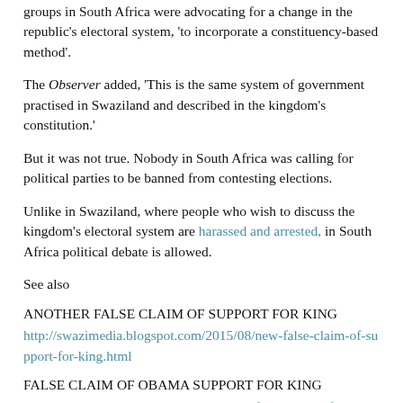groups in South Africa were advocating for a change in the republic's electoral system, 'to incorporate a constituency-based method'.
The Observer added, 'This is the same system of government practised in Swaziland and described in the kingdom's constitution.'
But it was not true. Nobody in South Africa was calling for political parties to be banned from contesting elections.
Unlike in Swaziland, where people who wish to discuss the kingdom's electoral system are harassed and arrested, in South Africa political debate is allowed.
See also
ANOTHER FALSE CLAIM OF SUPPORT FOR KING
http://swazimedia.blogspot.com/2015/08/new-false-claim-of-support-for-king.html
FALSE CLAIM OF OBAMA SUPPORT FOR KING
http://swazimedia.blogspot.com/2015/08/false-claim-of-...